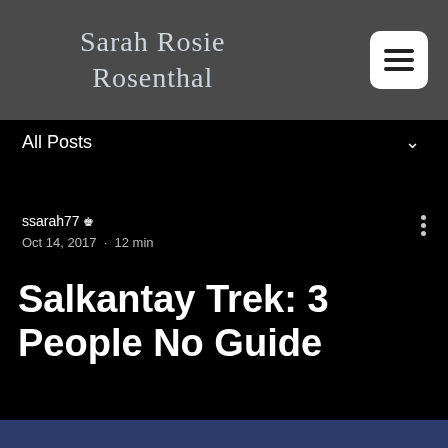Sarah Rosie Rosenthal
All Posts
ssarah77 Admin
Oct 14, 2017 · 12 min
Salkantay Trek: 3 People No Guide